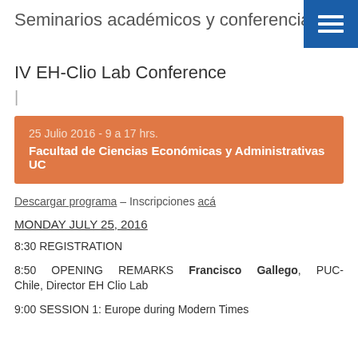Seminarios académicos y conferencias
IV EH-Clio Lab Conference
|
25 Julio 2016 - 9 a 17 hrs.
Facultad de Ciencias Económicas y Administrativas UC
Descargar programa – Inscripciones acá
MONDAY JULY 25, 2016
8:30 REGISTRATION
8:50 OPENING REMARKS Francisco Gallego, PUC-Chile, Director EH Clio Lab
9:00 SESSION 1: Europe during Modern Times